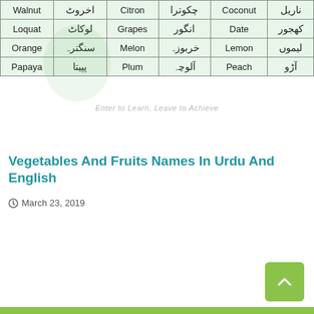[Figure (table-as-image): Partial table showing fruit names in English and Urdu script, 3 column groups. Rows: Walnut/اخروٹ, Loquat/لوکاٹ, Orange/سنگترہ, Papaya/پپیتا | Citron/چکوترا, Grapes/انگور, Melon/خربوزہ, Plum/آلوچہ | Coconut/ناریل, Date/کھجور, Lemon/لیموں, Peach/آڑو]
Vegetables And Fruits Names In Urdu And English
March 23, 2019